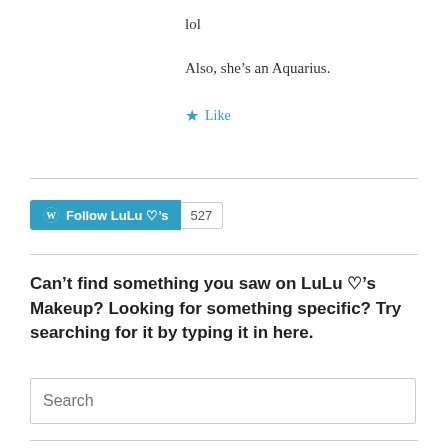lol
Also, she’s an Aquarius.
★ Like
[Figure (other): WordPress Follow button for LuLu ♥’s with follower count 527]
Can’t find something you saw on LuLu ♥’s Makeup? Looking for something specific? Try searching for it by typing it in here.
Search